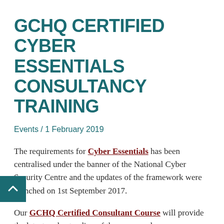GCHQ CERTIFIED CYBER ESSENTIALS CONSULTANCY TRAINING
Events / 1 February 2019
The requirements for Cyber Essentials has been centralised under the banner of the National Cyber Security Centre and the updates of the framework were launched on 1st September 2017.
Our GCHQ Certified Consultant Course will provide the latest understanding of the scope and requirements of the Cyber Essentials Standard. This will enable you to become a fully certified Cyber